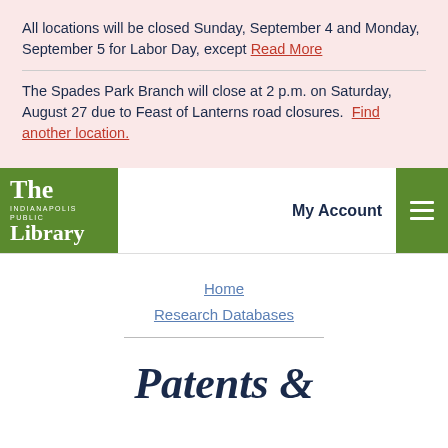All locations will be closed Sunday, September 4 and Monday, September 5 for Labor Day, except Read More
The Spades Park Branch will close at 2 p.m. on Saturday, August 27 due to Feast of Lanterns road closures. Find another location.
[Figure (logo): The Indianapolis Public Library logo — white text on green background]
My Account
Home
Research Databases
Patents &